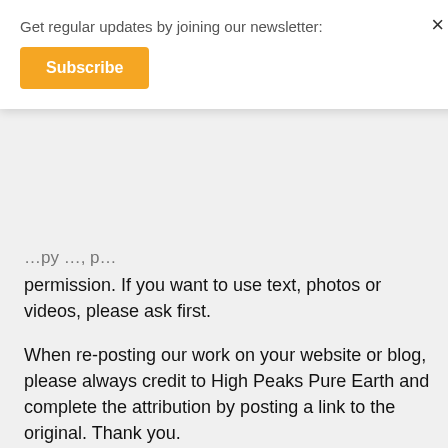Get regular updates by joining our newsletter:
Subscribe
permission. If you want to use text, photos or videos, please ask first.
When re-posting our work on your website or blog, please always credit to High Peaks Pure Earth and complete the attribution by posting a link to the original. Thank you.
High Peaks Pure Earth does not assume responsibility for opinions expressed in the comments sections.
For all queries please contact:
hpeaks@highpeakspureearth.com